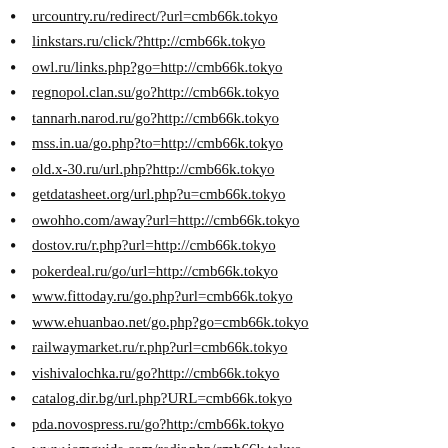urcountry.ru/redirect/?url=cmb66k.tokyo
linkstars.ru/click/?http://cmb66k.tokyo
owl.ru/links.php?go=http://cmb66k.tokyo
regnopol.clan.su/go?http://cmb66k.tokyo
tannarh.narod.ru/go?http://cmb66k.tokyo
mss.in.ua/go.php?to=http://cmb66k.tokyo
old.x-30.ru/url.php?http://cmb66k.tokyo
getdatasheet.org/url.php?u=cmb66k.tokyo
owohho.com/away?url=http://cmb66k.tokyo
dostov.ru/r.php?url=http://cmb66k.tokyo
pokerdeal.ru/go/url=http://cmb66k.tokyo
www.fittoday.ru/go.php?url=cmb66k.tokyo
www.ehuanbao.net/go.php?go=cmb66k.tokyo
railwaymarket.ru/r.php?url=cmb66k.tokyo
vishivalochka.ru/go?http://cmb66k.tokyo
catalog.dir.bg/url.php?URL=cmb66k.tokyo
pda.novospress.ru/go?http:/cmb66k.tokyo
www.iomguide.com/redir.php/cmb66k.tokyo
bel-kot.com/away?to=http://cmb66k.tokyo